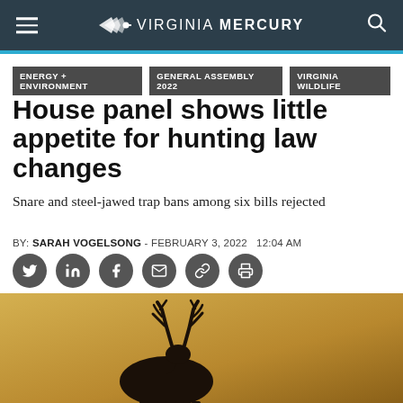Virginia Mercury
ENERGY + ENVIRONMENT
GENERAL ASSEMBLY 2022
VIRGINIA WILDLIFE
House panel shows little appetite for hunting law changes
Snare and steel-jawed trap bans among six bills rejected
BY: SARAH VOGELSONG - FEBRUARY 3, 2022   12:04 AM
[Figure (photo): Silhouette of a deer with antlers against a warm golden-brown background]